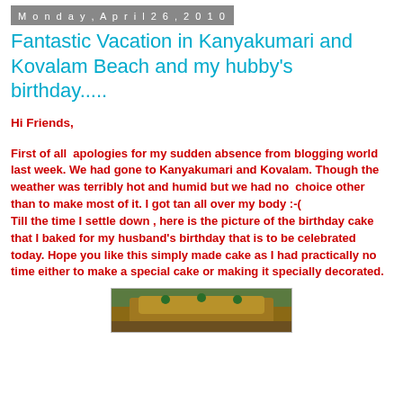Monday, April 26, 2010
Fantastic Vacation in Kanyakumari and Kovalam Beach and my hubby's birthday.....
Hi Friends,
First of all  apologies for my sudden absence from blogging world last week. We had gone to Kanyakumari and Kovalam. Though the weather was terribly hot and humid but we had no  choice other than to make most of it. I got tan all over my body :-(
Till the time I settle down , here is the picture of the birthday cake that I baked for my husband's birthday that is to be celebrated today. Hope you like this simply made cake as I had practically no time either to make a special cake or making it specially decorated.
[Figure (photo): Bottom edge of a photo showing a birthday cake, partially visible]